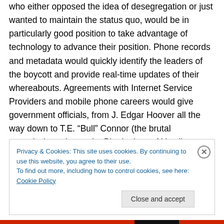who either opposed the idea of desegregation or just wanted to maintain the status quo, would be in particularly good position to take advantage of technology to advance their position. Phone records and metadata would quickly identify the leaders of the boycott and provide real-time updates of their whereabouts. Agreements with Internet Service Providers and mobile phone careers would give government officials, from J. Edgar Hoover all the way down to T.E. “Bull” Connor (the brutal commissioner in nearby Birmingham, AL),  direct insight into all communications passing between the leaders organizing
Privacy & Cookies: This site uses cookies. By continuing to use this website, you agree to their use.
To find out more, including how to control cookies, see here: Cookie Policy